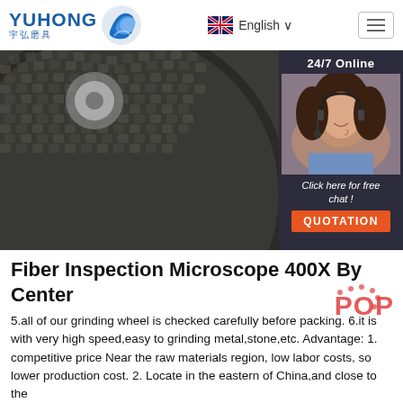YUHONG 宇弘磨具 | English
[Figure (photo): Close-up photo of a dark grinding wheel with textured surface and center hole, with a customer service chat sidebar overlay showing '24/7 Online', a female agent with headset, 'Click here for free chat!' text, and an orange QUOTATION button]
Fiber Inspection Microscope 400X By Center
5.all of our grinding wheel is checked carefully before packing. 6.it is with very high speed,easy to grinding metal,stone,etc. Advantage: 1. competitive price Near the raw materials region, low labor costs, so lower production cost. 2. Locate in the eastern of China,and close to the